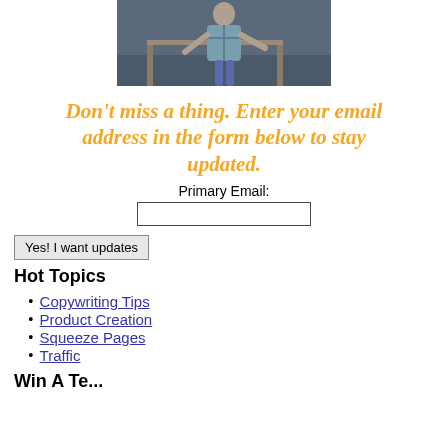[Figure (photo): Person standing outdoors near a railing and water, wearing a plaid shirt and jeans.]
Don't miss a thing. Enter your email address in the form below to stay updated.
Primary Email:
Yes! I want updates
Hot Topics
Copywriting Tips
Product Creation
Squeeze Pages
Traffic
Win A Te...